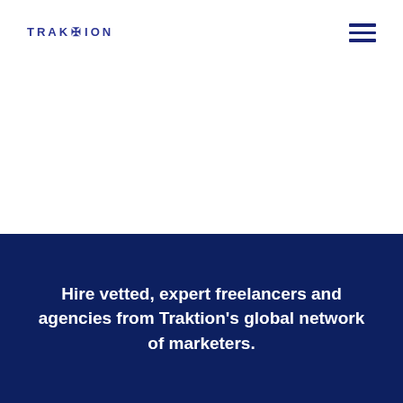TRAKTION
Hire vetted, expert freelancers and agencies from Traktion's global network of marketers.